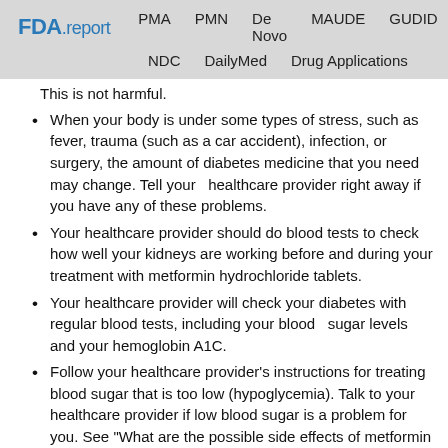FDA.report  PMA  PMN  De Novo  MAUDE  GUDID  NDC  DailyMed  Drug Applications
This is not harmful.
When your body is under some types of stress, such as fever, trauma (such as a car accident), infection, or surgery, the amount of diabetes medicine that you need may change. Tell your healthcare provider right away if you have any of these problems.
Your healthcare provider should do blood tests to check how well your kidneys are working before and during your treatment with metformin hydrochloride tablets.
Your healthcare provider will check your diabetes with regular blood tests, including your blood sugar levels and your hemoglobin A1C.
Follow your healthcare provider's instructions for treating blood sugar that is too low (hypoglycemia). Talk to your healthcare provider if low blood sugar is a problem for you. See "What are the possible side effects of metformin hydrochloride tablets?"
Check your blood sugar as your healthcare provider tells you to.
Stay on your prescribed diet and exercise program while taking